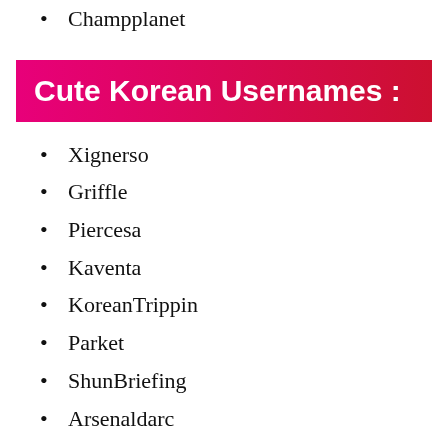Champplanet
Cute Korean Usernames :
Xignerso
Griffle
Piercesa
Kaventa
KoreanTrippin
Parket
ShunBriefing
Arsenaldarc
FinalKoreans
AniKoreans